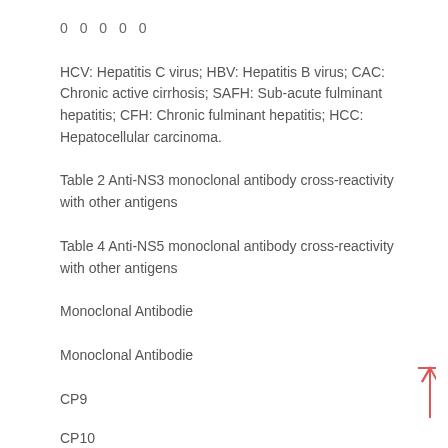0 0 0 0 0
HCV: Hepatitis C virus; HBV: Hepatitis B virus; CAC: Chronic active cirrhosis; SAFH: Sub-acute fulminant hepatitis; CFH: Chronic fulminant hepatitis; HCC: Hepatocellular carcinoma.
Table 2 Anti-NS3 monoclonal antibody cross-reactivity with other antigens
Table 4 Anti-NS5 monoclonal antibody cross-reactivity with other antigens
Monoclonal Antibodie
Monoclonal Antibodie
CP9
CP10
C11